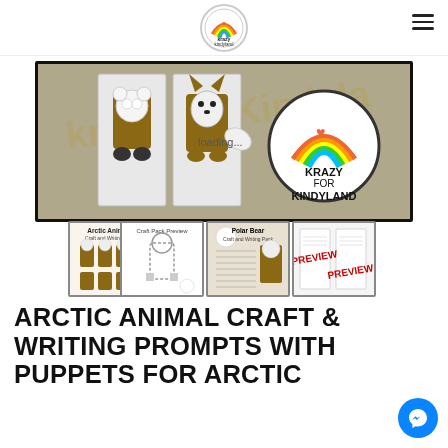Krazy for Kindyland logo and navigation
[Figure (photo): Main product image showing arctic animal paper bag puppets - a polar bear and an arctic fox - with 'Krazy for Kindyland' watermark logo, on a wooden background with craft materials]
[Figure (photo): Thumbnail 1: Arctic Animals Craft and Writing Pack cover with brown animal puppets]
[Figure (photo): Thumbnail 2: Craft Pack Preview showing outline of polar bear puppet]
[Figure (photo): Thumbnail 3: Polar Bear Craft and Writing Pack cover]
[Figure (photo): Thumbnail 4: Preview pages with red PREVIEW stamp]
ARCTIC ANIMAL CRAFT & WRITING PROMPTS WITH PUPPETS FOR ARCTIC